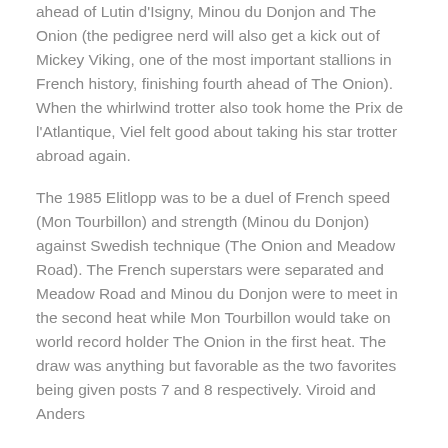ahead of Lutin d'Isigny, Minou du Donjon and The Onion (the pedigree nerd will also get a kick out of Mickey Viking, one of the most important stallions in French history, finishing fourth ahead of The Onion). When the whirlwind trotter also took home the Prix de l'Atlantique, Viel felt good about taking his star trotter abroad again.
The 1985 Elitlopp was to be a duel of French speed (Mon Tourbillon) and strength (Minou du Donjon) against Swedish technique (The Onion and Meadow Road). The French superstars were separated and Meadow Road and Minou du Donjon were to meet in the second heat while Mon Tourbillon would take on world record holder The Onion in the first heat. The draw was anything but favorable as the two favorites being given posts 7 and 8 respectively. Viroid and Anders